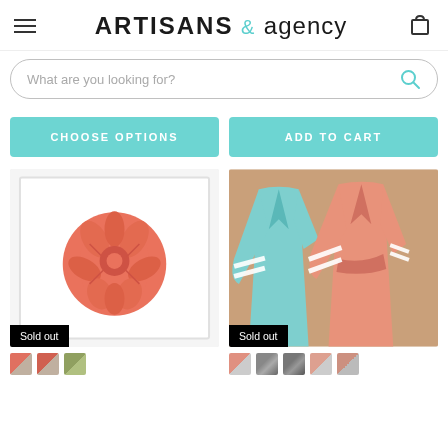ARTISANS & agency
What are you looking for?
CHOOSE OPTIONS
ADD TO CART
[Figure (photo): Framed floral art print with coral/orange botanical illustration on white background. Sold out badge visible.]
[Figure (photo): Two hanging bathrobes in light blue and coral/salmon colors with white stripe accents. Sold out badge visible.]